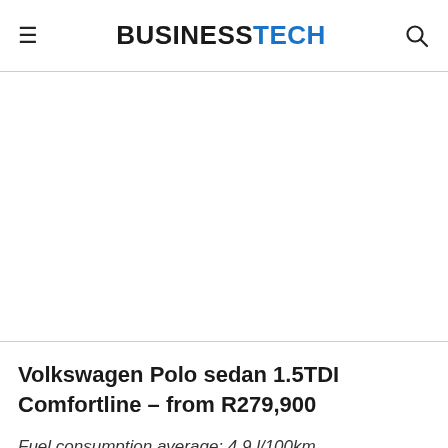BUSINESSTECH
[Figure (photo): Empty white image area (advertisement or car photo placeholder)]
Volkswagen Polo sedan 1.5TDI Comfortline – from R279,900
Fuel consumption average: 4.9 l/100km